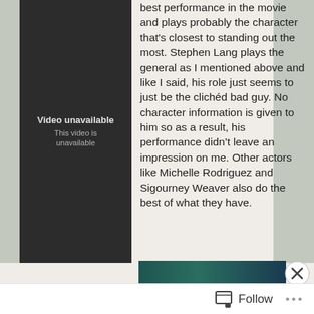[Figure (screenshot): Dark video player showing 'Video unavailable / This video is unavailable' message on dark grey background]
best performance in the movie and plays probably the character that's closest to standing out the most. Stephen Lang plays the general as I mentioned above and like I said, his role just seems to just be the clichéd bad guy. No character information is given to him so as a result, his performance didn't leave an impression on me. Other actors like Michelle Rodriguez and Sigourney Weaver also do the best of what they have.
[Figure (photo): Partial photo of a person, dark teal/green background, hair visible]
Advertisements
[Figure (screenshot): Advertisement banner: red background with 'KISS BORING' text and 'SHOP NOW' button]
Follow ...